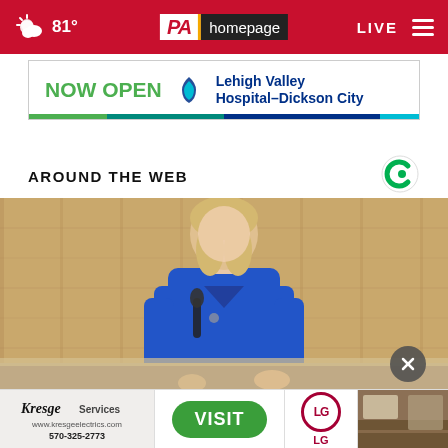81° PA homepage LIVE
[Figure (screenshot): Advertisement banner: NOW OPEN Lehigh Valley Hospital–Dickson City]
AROUND THE WEB
[Figure (photo): Woman in blue suit speaking at a podium against a wood-paneled background]
[Figure (screenshot): Advertisement banner: Kresge Services 570-325-2773 | VISIT button | LG logo | interior room photo]